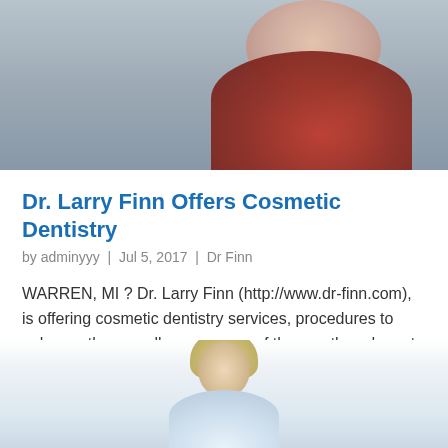[Figure (photo): Photo of a woman with dark hair wearing a red jacket, blurred background]
Dr. Larry Finn Offers Cosmetic Dentistry
by adminyyy  |  Jul 5, 2017  |  Dr Finn
WARREN, MI ? Dr. Larry Finn (http://www.dr-finn.com), is offering cosmetic dentistry services, procedures to enhance the overall appearance of the mouth and create beautiful smiles. With Dr. Finn?s 30 years of dental experience, he has come across many people who…
[Figure (photo): Photo of a blonde person, partially visible, light blue background]